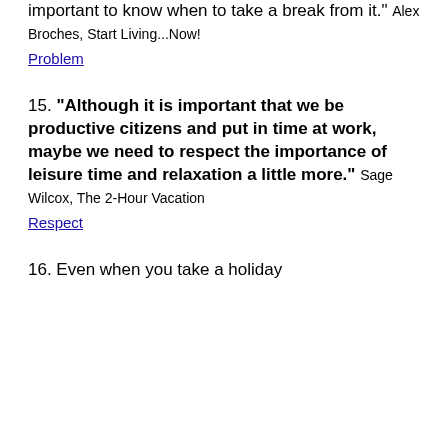important to know when to take a break from it." Alex Broches, Start Living...Now!
Problem
15. "Although it is important that we be productive citizens and put in time at work, maybe we need to respect the importance of leisure time and relaxation a little more." Sage Wilcox, The 2-Hour Vacation
Respect
16. Even when you take a holiday